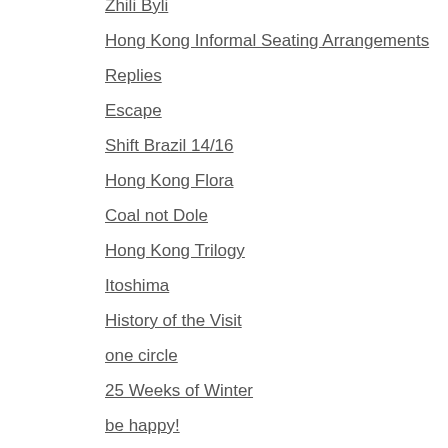Zhili Byli
Hong Kong Informal Seating Arrangements
Replies
Escape
Shift Brazil 14/16
Hong Kong Flora
Coal not Dole
Hong Kong Trilogy
Itoshima
History of the Visit
one circle
25 Weeks of Winter
be happy!
The Good Earth
Water Matters
Without | Sans
Norma
Small Bad Big City